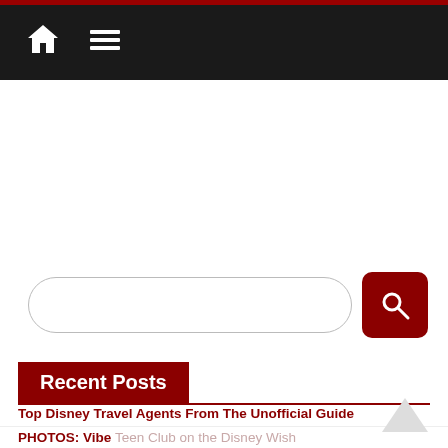Navigation bar with home and menu icons
[Figure (screenshot): Search input field with rounded corners and a dark red search button with magnifying glass icon]
Recent Posts
Top Disney Travel Agents From The Unofficial Guide
PHOTOS: Vibe Teen Club on the Disney Wish